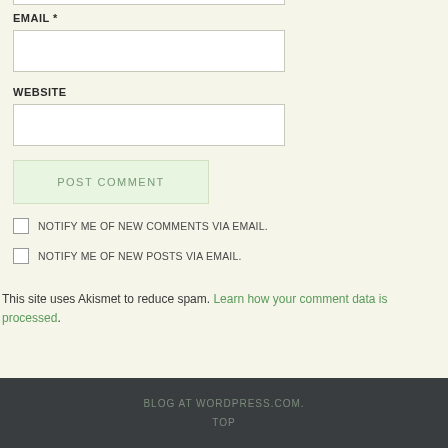EMAIL *
WEBSITE
POST COMMENT
NOTIFY ME OF NEW COMMENTS VIA EMAIL.
NOTIFY ME OF NEW POSTS VIA EMAIL.
This site uses Akismet to reduce spam. Learn how your comment data is processed.
BLOG AT WORDPRESS.COM.
TOP